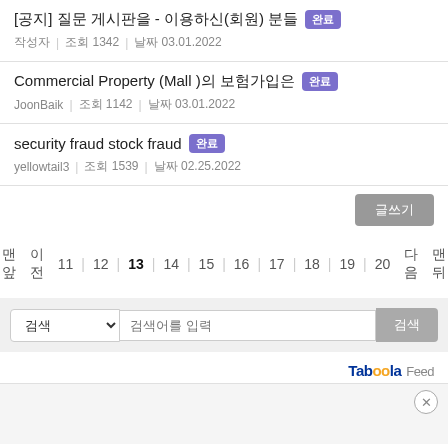[공지] 질문 게시판을 - 이용하신(회원) 분들 완료
작성자 | 조회 1342 | 날짜 03.01.2022
Commercial Property (Mall )의 보험가입은 완료
JoonBaik | 조회 1142 | 날짜 03.01.2022
security fraud stock fraud 완료
yellowtail3 | 조회 1539 | 날짜 02.25.2022
글쓰기
맨앞 이전 11 | 12 | 13 | 14 | 15 | 16 | 17 | 18 | 19 | 20 | 다음 맨뒤
검색 | 검색어를 입력 | 검색